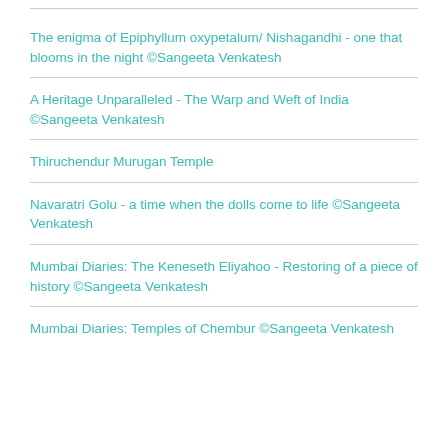The enigma of Epiphyllum oxypetalum/ Nishagandhi - one that blooms in the night ©Sangeeta Venkatesh
A Heritage Unparalleled - The Warp and Weft of India ©Sangeeta Venkatesh
Thiruchendur Murugan Temple
Navaratri Golu - a time when the dolls come to life ©Sangeeta Venkatesh
Mumbai Diaries: The Keneseth Eliyahoo - Restoring of a piece of history ©Sangeeta Venkatesh
Mumbai Diaries: Temples of Chembur ©Sangeeta Venkatesh